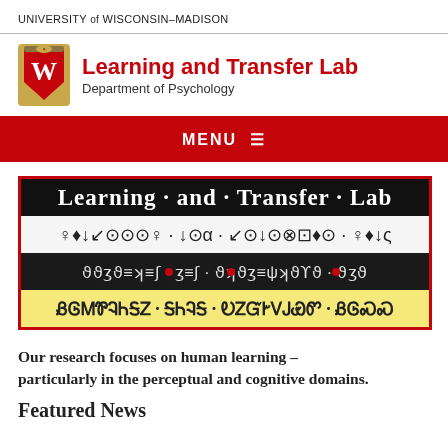UNIVERSITY of WISCONSIN–MADISON
Learning and Transfer Lab
Department of Psychology
MENU ≡
[Figure (illustration): Learning and Transfer Lab banner image with the lab name in English on a black background, followed by rows showing the lab name in various scripts (symbols, geometric characters, and an ancient/historic script) on alternating black and yellow/white backgrounds, all bordered in red.]
Our research focuses on human learning – particularly in the perceptual and cognitive domains.
Featured News